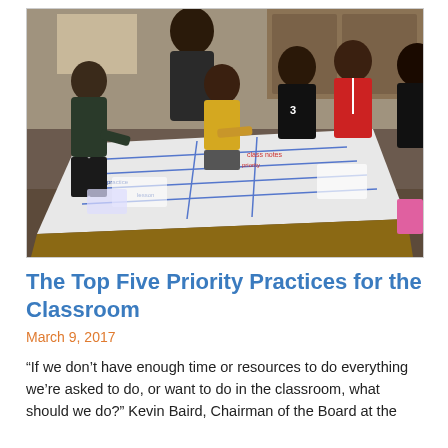[Figure (photo): A group of students and a teacher gathered around a large table covered with a big paper/chart, writing and working collaboratively in a classroom setting. Several students are seated or standing around the table. The setting appears to be a science classroom.]
The Top Five Priority Practices for the Classroom
March 9, 2017
“If we don’t have enough time or resources to do everything we’re asked to do, or want to do in the classroom, what should we do?” Kevin Baird, Chairman of the Board at the